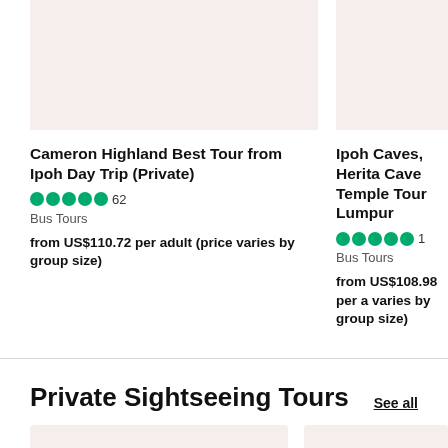[Figure (photo): Product image placeholder for Cameron Highland Best Tour (left card)]
[Figure (photo): Product image placeholder for Ipoh Caves Heritage Cave Temple Tour (right card, cropped)]
Cameron Highland Best Tour from Ipoh Day Trip (Private)
62 reviews | Bus Tours | from US$110.72 per adult (price varies by group size)
Ipoh Caves, Heritage Cave Temple Tour Kuala Lumpur
1 review | Bus Tours | from US$108.98 per adult (price varies by group size)
Private Sightseeing Tours
See all
[Figure (photo): Thumbnail image for private sightseeing tour (left, with heart icon)]
[Figure (photo): Thumbnail image for private sightseeing tour (right, cropped)]